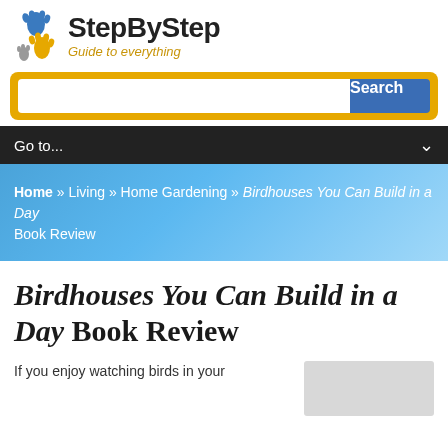[Figure (logo): StepByStep logo with two footprint icons (blue and orange/grey) and text 'StepByStep' with subtitle 'Guide to everything']
[Figure (screenshot): Search bar with orange background, white text input field, and blue 'Search' button]
[Figure (screenshot): Dark navigation bar with 'Go to...' text and dropdown chevron]
Home » Living » Home Gardening » Birdhouses You Can Build in a Day Book Review
Birdhouses You Can Build in a Day Book Review
If you enjoy watching birds in your